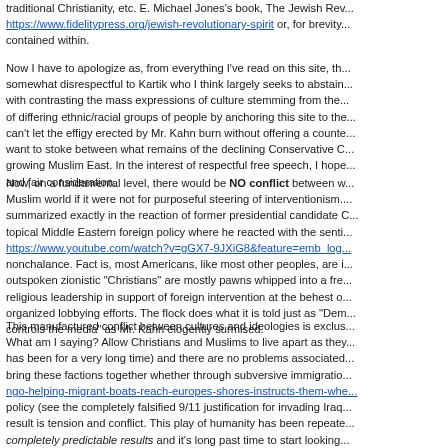traditional Christianity, etc. E. Michael Jones's book, The Jewish Rev... https://www.fidelitypress.org/jewish-revolutionary-spirit or, for brevity... contained within.
Now I have to apologize as, from everything I've read on this site, th... somewhat disrespectful to Kartik who I think largely seeks to abstain... with contrasting the mass expressions of culture stemming from the... of differing ethnic/racial groups of people by anchoring this site to the... can't let the effigy erected by Mr. Kahn burn without offering a counte... want to stoke between what remains of the declining Conservative C... growing Muslim East. In the interest of respectful free speech, I hope... and fair consideration.
Now, on a fundamental level, there would be NO conflict between w... Muslim world if it were not for purposeful steering of interventionism... summarized exactly in the reaction of former presidential candidate C... topical Middle Eastern foreign policy where he reacted with the senti... https://www.youtube.com/watch?v=gGX7-9JXiG8&feature=emb_log... nonchalance. Fact is, most Americans, like most other peoples, are i... outspoken zionistic "Christians" are mostly pawns whipped into a fre... religious leadership in support of foreign intervention at the behest o... organized lobbying efforts. The flock does what it is told just as "Dem... controls the media" as Mr. Kahn elogently surmised.
This manufactured conflict between cultures and ideologies is exclus... What am I saying? Allow Christians and Muslims to live apart as they... has been for a very long time) and there are no problems associated... bring these factions together whether through subversive immigratio... ngo-helping-migrant-boats-reach-europes-shores-instructs-them-whe... policy (see the completely falsified 9/11 justification for invading Iraq... result is tension and conflict. This play of humanity has been repeate... completely predictable results and it's long past time to start looking... these inevitable and predictable human tragedies.